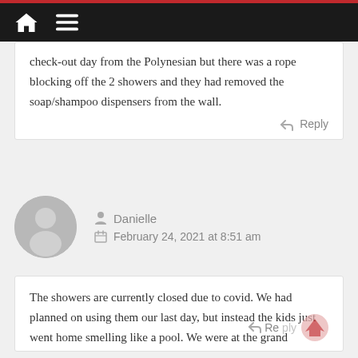Navigation bar with home and menu icons
check-out day from the Polynesian but there was a rope blocking off the 2 showers and they had removed the soap/shampoo dispensers from the wall.
Danielle
February 24, 2021 at 8:51 am
The showers are currently closed due to covid. We had planned on using them our last day, but instead the kids just went home smelling like a pool. We were at the grand Floridian till February 8.